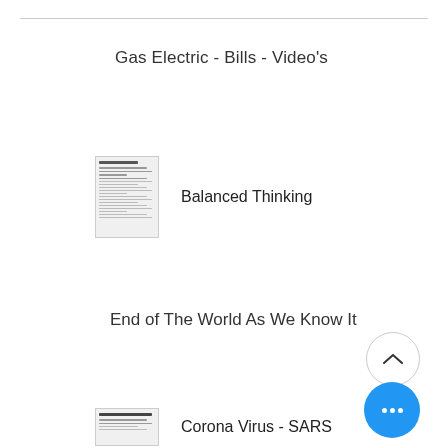Gas Electric - Bills - Video's
[Figure (screenshot): Thumbnail of a document page with dense text lines]
Balanced Thinking
End of The World As We Know It
[Figure (screenshot): Thumbnail of a document page with dense text lines]
Corona Virus - SARS